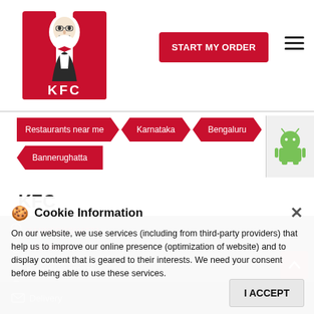[Figure (logo): KFC logo with Colonel Sanders and red KFC lettering]
START MY ORDER
Restaurants near me
Karnataka
Bengaluru
Bannerughatta
[Figure (logo): Android robot icon badge]
KFC
BANNERUGHATTA
ADDRESS
No. 771, Price Square, Bannerughatta Road, Bengaluru - 560076
STORE TIMING
Open until 11:00 PM
OPEN NOW
Delivery
Dine In
Cookie Information
On our website, we use services (including from third-party providers) that help us to improve our online presence (optimization of website) and to display content that is geared to their interests. We need your consent before being able to use these services.
I ACCEPT